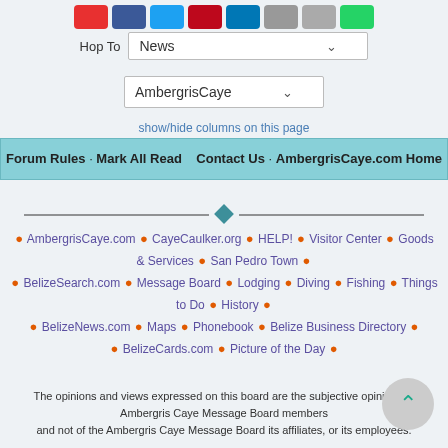[Figure (other): Row of social media sharing icon buttons: Google+, Facebook, Twitter, Pinterest, LinkedIn, Email, another, WhatsApp]
Hop To   News ▾
AmbergrisCaye ▾
show/hide columns on this page
Forum Rules · Mark All Read    Contact Us · AmbergrisCaye.com Home
[Figure (other): Decorative diamond/horizontal rule divider]
• AmbergrisCaye.com • CayeCaulker.org • HELP! • Visitor Center • Goods & Services • San Pedro Town • • BelizeSearch.com • Message Board • Lodging • Diving • Fishing • Things to Do • History • • BelizeNews.com • Maps • Phonebook • Belize Business Directory • • BelizeCards.com • Picture of the Day •
The opinions and views expressed on this board are the subjective opinions of Ambergris Caye Message Board members
and not of the Ambergris Caye Message Board its affiliates, or its employees.